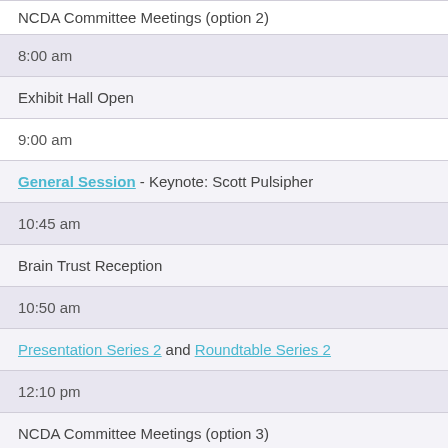| NCDA Committee Meetings (option 2) |
| 8:00 am |
| Exhibit Hall Open |
| 9:00 am |
| General Session - Keynote: Scott Pulsipher |
| 10:45 am |
| Brain Trust Reception |
| 10:50 am |
| Presentation Series 2 and Roundtable Series 2 |
| 12:10 pm |
| NCDA Committee Meetings (option 3) |
| 1:30 pm |